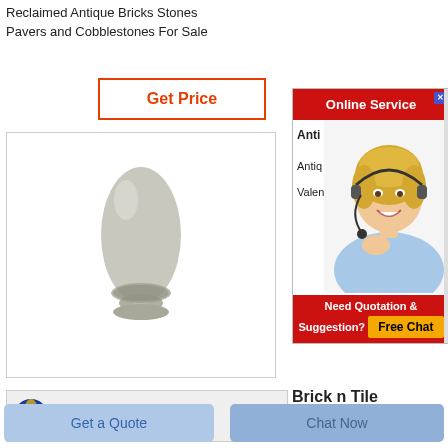Reclaimed Antique Bricks Stones Pavers and Cobblestones For Sale
Get Price
[Figure (photo): A white/grey egg-shaped ceramic or stone decorative object on a small pedestal/stand, photographed against a light background.]
[Figure (screenshot): Online Service banner with red header, a customer service agent photo (blonde woman with headset), partial text reading 'Anti...' and 'Antiq...' 'Valen...', a 'Need Quotation & Suggestion?' section, and a yellow 'Free Chat' button.]
Anti
Antiq
Valen
Need Quotation & Suggestion?
Free Chat
[Figure (logo): Company logo - colorful sphere/globe icon with red and yellow, associated with company name 'Pangchang']
Pangchang
Brick n Tile
Brick n Tile is a fully accredited
Get a Quote
Chat Now